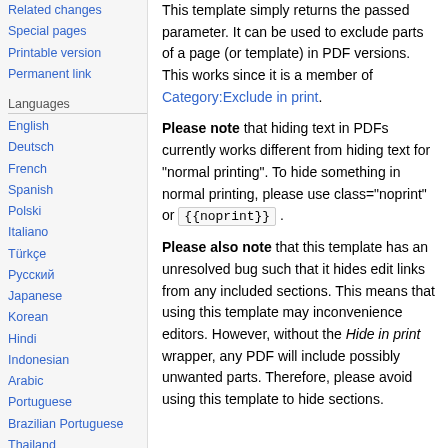Related changes
Special pages
Printable version
Permanent link
Languages
English
Deutsch
French
Spanish
Polski
Italiano
Türkçe
Русский
Japanese
Korean
Hindi
Indonesian
Arabic
Portuguese
Brazilian Portuguese
Thailand
Swedish
Malaysia
This template simply returns the passed parameter. It can be used to exclude parts of a page (or template) in PDF versions. This works since it is a member of Category:Exclude in print.
Please note that hiding text in PDFs currently works different from hiding text for "normal printing". To hide something in normal printing, please use class="noprint" or {{noprint}}.
Please also note that this template has an unresolved bug such that it hides edit links from any included sections. This means that using this template may inconvenience editors. However, without the Hide in print wrapper, any PDF will include possibly unwanted parts. Therefore, please avoid using this template to hide sections.